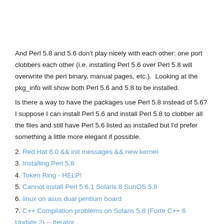And Perl 5.8 and 5.6 don't play nicely with each other: one port clobbers each other (i.e. installing Perl 5.6 over Perl 5.8 will overwrite the perl binary, manual pages, etc.).  Looking at the pkg_info will show both Perl 5.6 and 5.8 to be installed.
Is there a way to have the packages use Perl 5.8 instead of 5.6?  I suppose I can install Perl 5.6 and install Perl 5.8 to clobber all the files and still have Perl 5.6 listed as installed but I'd prefer something a little more elegant if possible.
2. Red Hat 6.0 && init messages && new kernel
3. Installing Perl 5.8
4. Token Ring - HELP!
5. Cannot install Perl 5.6.1 Solaris 8 SunOS 5.8
6. linux on asus dual pentium board
7. C++ Compilation problems on Solaris 5.8 (Forte C++ 6 Update 2) -- Iterator
8. posting
9. Updating Solaris 5.8 01/01 Sparc